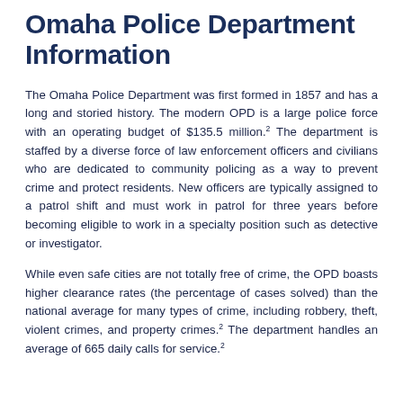Omaha Police Department Information
The Omaha Police Department was first formed in 1857 and has a long and storied history. The modern OPD is a large police force with an operating budget of $135.5 million.2 The department is staffed by a diverse force of law enforcement officers and civilians who are dedicated to community policing as a way to prevent crime and protect residents. New officers are typically assigned to a patrol shift and must work in patrol for three years before becoming eligible to work in a specialty position such as detective or investigator.
While even safe cities are not totally free of crime, the OPD boasts higher clearance rates (the percentage of cases solved) than the national average for many types of crime, including robbery, theft, violent crimes, and property crimes.2 The department handles an average of 665 daily calls for service.2